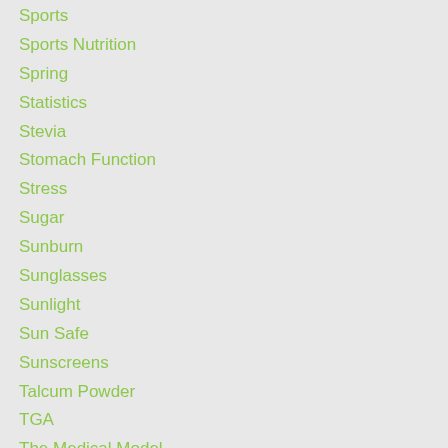Sports
Sports Nutrition
Spring
Statistics
Stevia
Stomach Function
Stress
Sugar
Sunburn
Sunglasses
Sunlight
Sun Safe
Sunscreens
Talcum Powder
TGA
The Medical Model
Thyroid
Tonsillitis
Tooth Decay